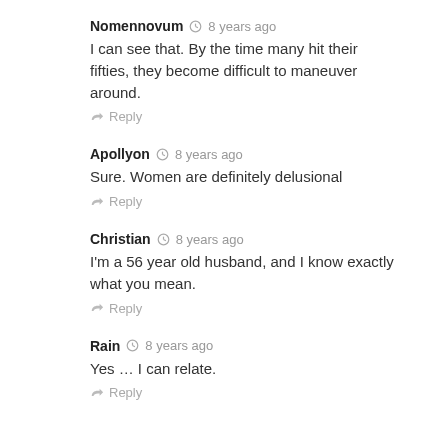Nomennovum  8 years ago
I can see that. By the time many hit their fifties, they become difficult to maneuver around.
Reply
Apollyon  8 years ago
Sure. Women are definitely delusional
Reply
Christian  8 years ago
I'm a 56 year old husband, and I know exactly what you mean.
Reply
Rain  8 years ago
Yes … I can relate.
Reply